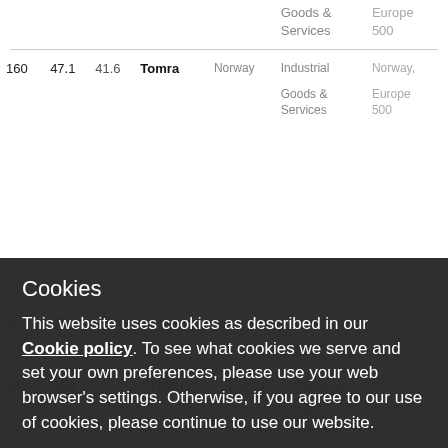| # | Val1 | Val2 | Company | Country | Sector | Index |
| --- | --- | --- | --- | --- | --- | --- |
|  |  |  |  |  | Goods & Services | Europe 500 |
| 160 | 47.1 | 41.6 | Tomra | Norway | Industrial Goods & Services | Norway, Europe 500 |
| 163 | 47.0 | 45.9 | Sobi | Sweden | Health Care | Sweden, Europe 500 |
| 164 | 46.9 | 44.0 | LVMH | France | Personal & Household Goods | France, Europe 500 |
Cookies
This website uses cookies as described in our Cookie policy. To see what cookies we serve and set your own preferences, please use your web browser's settings. Otherwise, if you agree to our use of cookies, please continue to use our website.
Accept